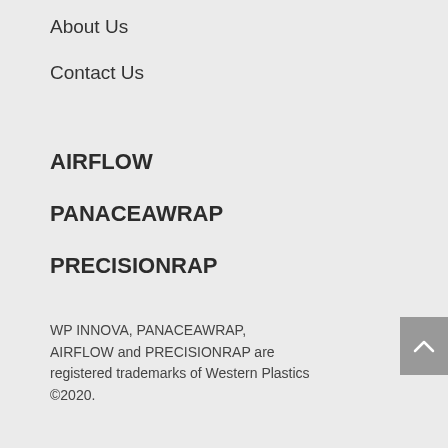About Us
Contact Us
AIRFLOW
PANACEAWRAP
PRECISIONRAP
WP INNOVA, PANACEAWRAP, AIRFLOW and PRECISIONRAP are registered trademarks of Western Plastics ©2020.